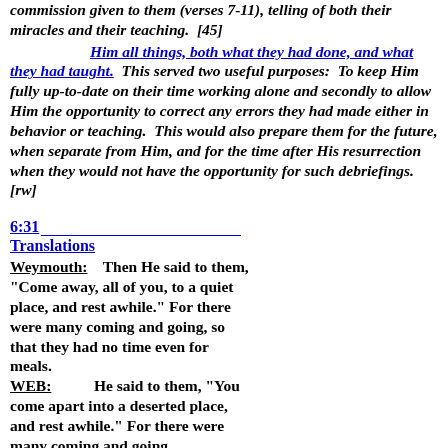commission given to them (verses 7-11), telling of both their miracles and their teaching. [45]
Him all things, both what they had done, and what they had taught. This served two useful purposes: To keep Him fully up-to-date on their time working alone and secondly to allow Him the opportunity to correct any errors they had made either in behavior or teaching. This would also prepare them for the future, when separate from Him, and for the time after His resurrection when they would not have the opportunity for such debriefings. [rw]
6:31
Translations
Weymouth: Then He said to them, "Come away, all of you, to a quiet place, and rest awhile." For there were many coming and going, so that they had no time even for meals.
WEB: He said to them, "You come apart into a deserted place, and rest awhile." For there were many coming and going,